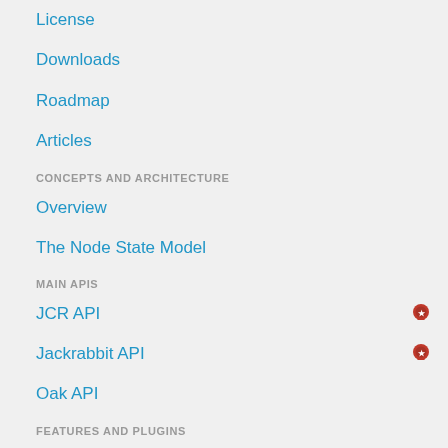License
Downloads
Roadmap
Articles
CONCEPTS AND ARCHITECTURE
Overview
The Node State Model
MAIN APIS
JCR API
Jackrabbit API
Oak API
FEATURES AND PLUGINS
Node Storage
Document NodeStore
MongoDB DocumentStore
RDB DocumentStore
Node Bundling